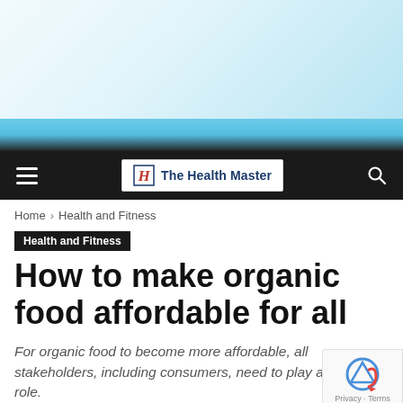[Figure (screenshot): Top image area with blue gradient strip and dark navbar transition]
The Health Master
Home › Health and Fitness
Health and Fitness
How to make organic food affordable for all
For organic food to become more affordable, all stakeholders, including consumers, need to play an role.